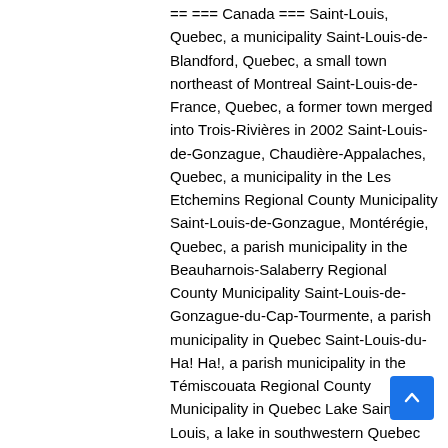== === Canada === Saint-Louis, Quebec, a municipality Saint-Louis-de-Blandford, Quebec, a small town northeast of Montreal Saint-Louis-de-France, Quebec, a former town merged into Trois-Rivières in 2002 Saint-Louis-de-Gonzague, Chaudière-Appalaches, Quebec, a municipality in the Les Etchemins Regional County Municipality Saint-Louis-de-Gonzague, Montérégie, Quebec, a parish municipality in the Beauharnois-Salaberry Regional County Municipality Saint-Louis-de-Gonzague-du-Cap-Tourmente, a parish municipality in Quebec Saint-Louis-du-Ha! Ha!, a parish municipality in the Témiscouata Regional County Municipality in Quebec Lake Saint-Louis, a lake in southwestern Quebec Saint-Louis (provincial electoral district), a former electoral district in Montreal, QuebecSaint-Louis-de-